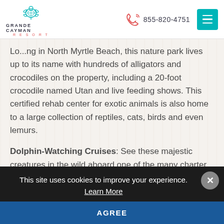GRANDE CAYMAN RESORT | 855-820-4751
Lo...ng in North Myrtle Beach, this nature park lives up to its name with hundreds of alligators and crocodiles on the property, including a 20-foot crocodile named Utan and live feeding shows. This certified rehab center for exotic animals is also home to a large collection of reptiles, cats, birds and even lemurs.
Dolphin-Watching Cruises: See these majestic creatures in the wild aboard one of the many charter boat outfitters on the Grand Strand. Patrons take a short trip off the Carolina coast to
This site uses cookies to improve your experience. Learn More
AGREE